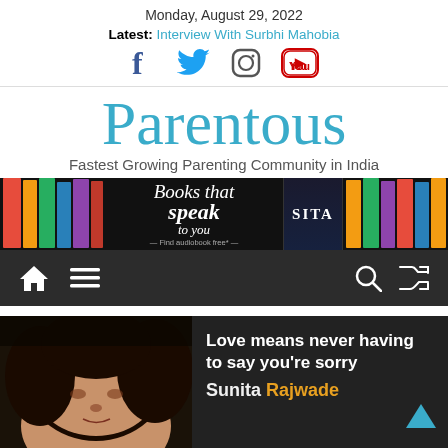Monday, August 29, 2022
Latest: Interview With Surbhi Mahobia
[Figure (infographic): Social media icons: Facebook, Twitter, Instagram, YouTube]
Parentous
Fastest Growing Parenting Community in India
[Figure (infographic): Audible Books That Speak To You banner advertisement with audiobook covers]
[Figure (infographic): Navigation bar with home, menu, search, and shuffle icons on dark background]
[Figure (photo): Photo of a woman with dark curly hair beside article text]
Love means never having to say you're sorry
Sunita Rajwade